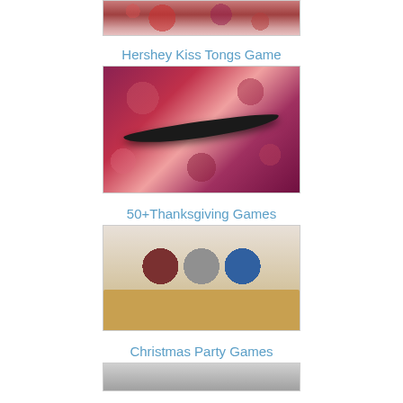[Figure (photo): Partial image of Hershey Kisses candy at top of page]
Hershey Kiss Tongs Game
[Figure (photo): Photo of tongs picking up Hershey Kisses from a plate surrounded by chocolates]
50+Thanksgiving Games
[Figure (photo): Three girls sitting at a table with plates in front of them, playing a game]
Christmas Party Games
[Figure (photo): Partial image for Christmas Party Games article]